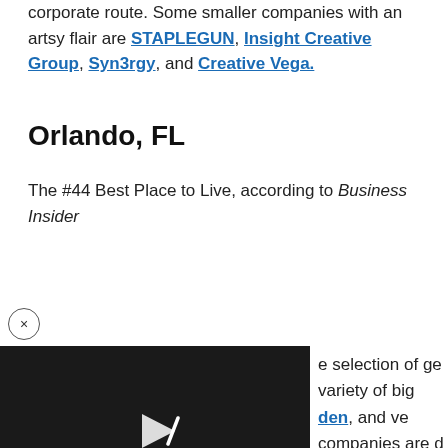corporate route. Some smaller companies with an artsy flair are STAPLEGUN, Insight Creative Group, Syn3rgy, and Creative Vega.
Orlando, FL
The #44 Best Place to Live, according to Business Insider
[Figure (screenshot): Video player showing error: 'This video file cannot be played. (Error Code: 2 24003)' on dark background with play icon.]
e selection of ge variety of big den, and ve companies are d Different